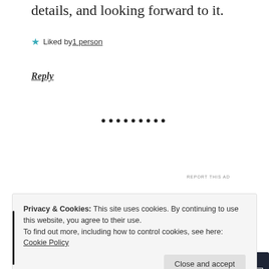details, and looking forward to it.
★ Liked by 1 person
Reply
[Figure (infographic): Dark banner ad: bonsai tree icon, text 'Launch your online course with WordPress', button 'Learn More']
REPORT THIS AD
Privacy & Cookies: This site uses cookies. By continuing to use this website, you agree to their use.
To find out more, including how to control cookies, see here: Cookie Policy
Close and accept